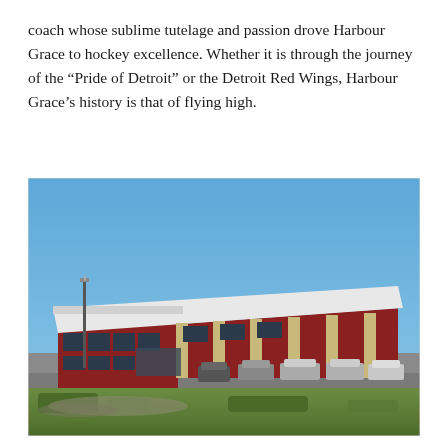coach whose sublime tutelage and passion drove Harbour Grace to hockey excellence. Whether it is through the journey of the “Pride of Detroit” or the Detroit Red Wings, Harbour Grace’s history is that of flying high.
[Figure (photo): Exterior photograph of a large red and beige arena/sports facility building with a white roof, under a clear blue sky. Several cars are parked in the foreground parking lot, and a street lamp is visible on the left side. Green grass is in the foreground.]